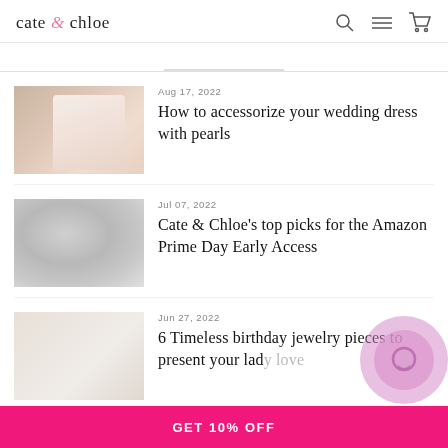cate & chloe
Aug 17, 2022
How to accessorize your wedding dress with pearls
Jul 07, 2022
Cate & Chloe's top picks for the Amazon Prime Day Early Access
Jun 27, 2022
6 Timeless birthday jewelry pieces to present your lady love
GET 10% OFF